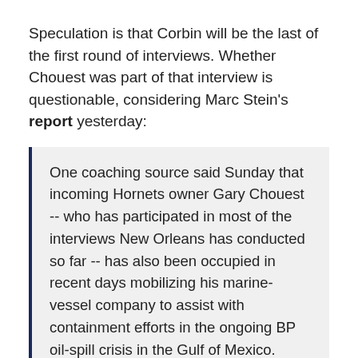Speculation is that Corbin will be the last of the first round of interviews. Whether Chouest was part of that interview is questionable, considering Marc Stein's report yesterday:
One coaching source said Sunday that incoming Hornets owner Gary Chouest -- who has participated in most of the interviews New Orleans has conducted so far -- has also been occupied in recent days mobilizing his marine-vessel company to assist with containment efforts in the ongoing BP oil-spill crisis in the Gulf of Mexico.
Also from that same story: